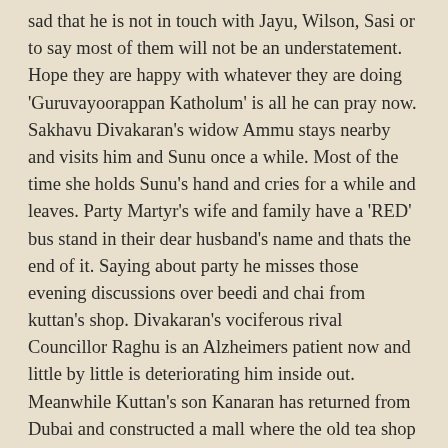sad that he is not in touch with Jayu, Wilson, Sasi or to say most of them will not be an understatement. Hope they are happy with whatever they are doing 'Guruvayoorappan Katholum' is all he can pray now. Sakhavu Divakaran's widow Ammu stays nearby and visits him and Sunu once a while. Most of the time she holds Sunu's hand and cries for a while and leaves. Party Martyr's wife and family have a 'RED' bus stand in their dear husband's name and thats the end of it. Saying about party he misses those evening discussions over beedi and chai from kuttan's shop. Divakaran's vociferous rival Councillor Raghu is an Alzheimers patient now and little by little is deteriorating him inside out. Meanwhile Kuttan's son Kanaran has returned from Dubai and constructed a mall where the old tea shop stood. Kanaran calls himself a 'real estate broker' these days. Some times its ironic how life has changed around the small village.
Meanwhile Sunu can see her husband sitting and smiling all alone lost in his thoughts. She prefers not to disturb him and prefers to continue with her daily afternoon knitting. In between she checks the calendar and calculates with her